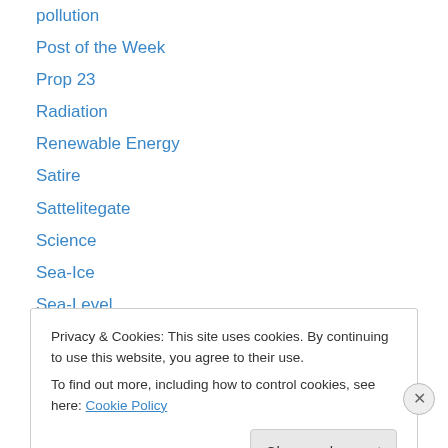pollution
Post of the Week
Prop 23
Radiation
Renewable Energy
Satire
Sattelitegate
Science
Sea-Ice
Sea-Level
Seafoodgate
Slaying the Sky Dragon
Solar
Privacy & Cookies: This site uses cookies. By continuing to use this website, you agree to their use.
To find out more, including how to control cookies, see here: Cookie Policy